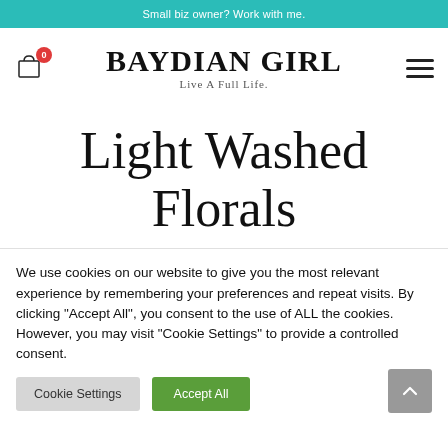Small biz owner? Work with me.
[Figure (logo): Shopping cart icon with red badge showing '0']
BAYDIAN GIRL — Live A Full Life.
[Figure (other): Hamburger menu icon (three horizontal lines)]
Light Washed Florals
We use cookies on our website to give you the most relevant experience by remembering your preferences and repeat visits. By clicking "Accept All", you consent to the use of ALL the cookies. However, you may visit "Cookie Settings" to provide a controlled consent.
Cookie Settings | Accept All